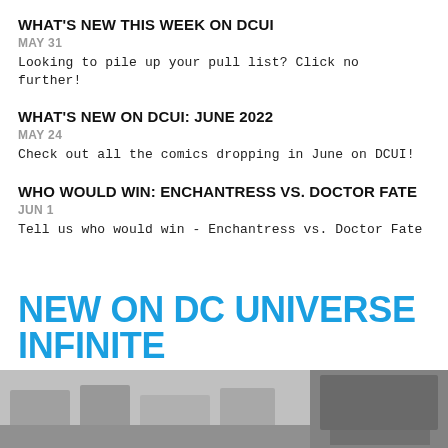WHAT'S NEW THIS WEEK ON DCUI
MAY 31
Looking to pile up your pull list? Click no further!
WHAT'S NEW ON DCUI: JUNE 2022
MAY 24
Check out all the comics dropping in June on DCUI!
WHO WOULD WIN: ENCHANTRESS VS. DOCTOR FATE
JUN 1
Tell us who would win - Enchantress vs. Doctor Fate
NEW ON DC UNIVERSE INFINITE
[Figure (photo): Two comic book image panels side by side, greyscale/muted tones]